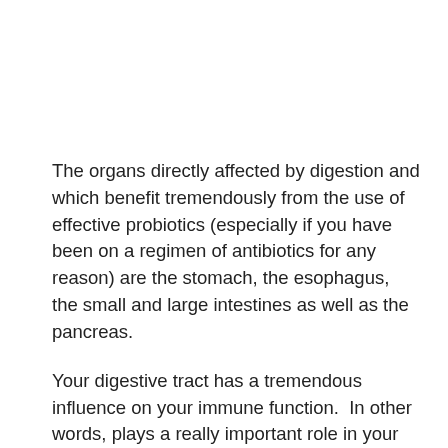The organs directly affected by digestion and which benefit tremendously from the use of effective probiotics (especially if you have been on a regimen of antibiotics for any reason) are the stomach, the esophagus, the small and large intestines as well as the pancreas.
Your digestive tract has a tremendous influence on your immune function.  In other words, plays a really important role in your ability to fight viral and bacterial infections.  In order to maintain optimum health you need to maintain the healthy bacteria in your intestinal tract. This is done best by using an